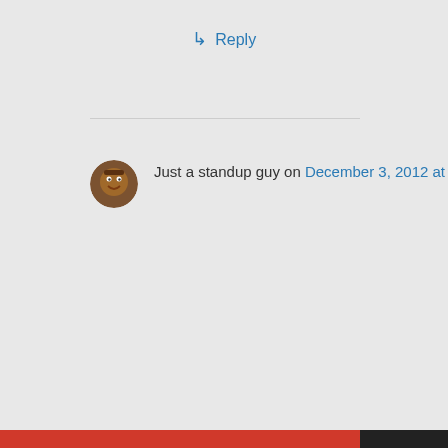↵ Reply
Just a standup guy on December 3, 2012 at
[Figure (illustration): Circular avatar icon of a cartoon character with brown tones]
Privacy & Cookies: This site uses cookies. By continuing to use this website, you agree to their use.
To find out more, including how to control cookies, see here: Cookie Policy
Close and accept